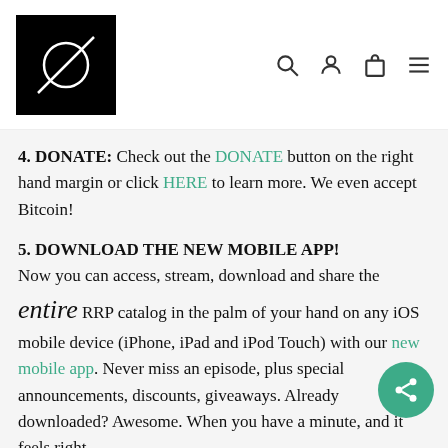[Figure (logo): Black square logo with a white circular symbol and diagonal line through it — RRP brand logo]
4. DONATE: Check out the DONATE button on the right hand margin or click HERE to learn more. We even accept Bitcoin!
5. DOWNLOAD THE NEW MOBILE APP! Now you can access, stream, download and share the entire RRP catalog in the palm of your hand on any iOS mobile device (iPhone, iPad and iPod Touch) with our new mobile app. Never miss an episode, plus special announcements, discounts, giveaways. Already downloaded? Awesome. When you have a minute, and it feels right